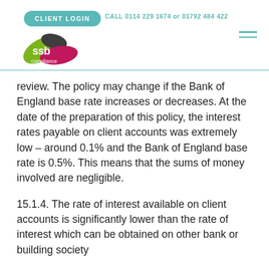CLIENT LOGIN   CALL 0114 229 1674 or 01792 484 422
[Figure (logo): SSB Compliance logo with green, dark grey and pink leaf shapes and 'ssb compliance' text]
review. The policy may change if the Bank of England base rate increases or decreases. At the date of the preparation of this policy, the interest rates payable on client accounts was extremely low – around 0.1% and the Bank of England base rate is 0.5%. This means that the sums of money involved are negligible.
15.1.4. The rate of interest available on client accounts is significantly lower than the rate of interest which can be obtained on other bank or building society